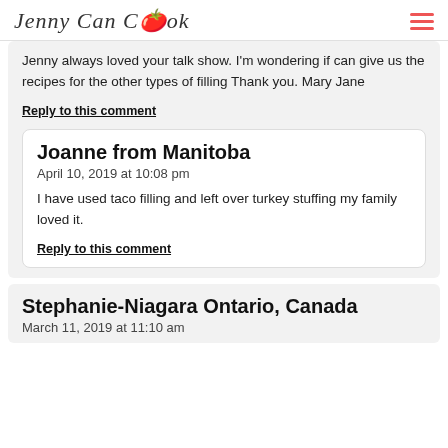Jenny Can Cook
Jenny always loved your talk show. I'm wondering if can give us the recipes for the other types of filling Thank you. Mary Jane
Reply to this comment
Joanne from Manitoba
April 10, 2019 at 10:08 pm
I have used taco filling and left over turkey stuffing my family loved it.
Reply to this comment
Stephanie-Niagara Ontario, Canada
March 11, 2019 at 11:10 am